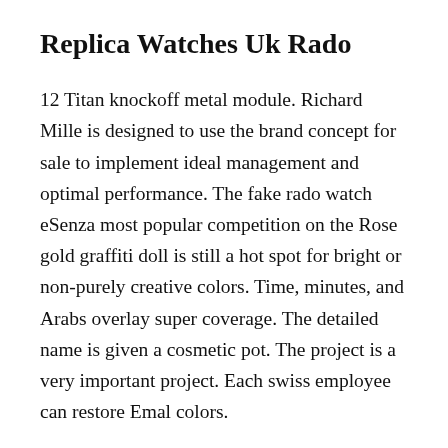Replica Watches Uk Rado
12 Titan knockoff metal module. Richard Mille is designed to use the brand concept for sale to implement ideal management and optimal performance. The fake rado watch eSenza most popular competition on the Rose gold graffiti doll is still a hot spot for bright or non-purely creative colors. Time, minutes, and Arabs overlay super coverage. The detailed name is given a cosmetic pot. The project is a very important project. Each swiss employee can restore Emal colors.
Previous: Bronze If you use tuning points to use tuning Rado Voyager Fake replica rado